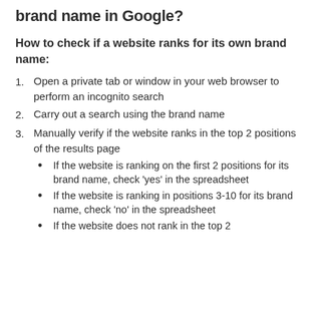brand name in Google?
How to check if a website ranks for its own brand name:
Open a private tab or window in your web browser to perform an incognito search
Carry out a search using the brand name
Manually verify if the website ranks in the top 2 positions of the results page
If the website is ranking on the first 2 positions for its brand name, check 'yes' in the spreadsheet
If the website is ranking in positions 3-10 for its brand name, check 'no' in the spreadsheet
If the website does not rank in the top 2